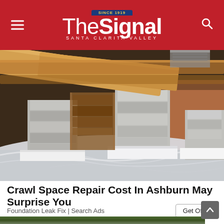The Signal — Santa Clarita Valley
[Figure (photo): Interior view of a crawl space with wood beam joists above, concrete block piers, and a white/silver vapor barrier plastic sheeting covering the ground.]
Crawl Space Repair Cost In Ashburn May Surprise You
Foundation Leak Fix | Search Ads
[Figure (photo): Partial view of a second image at the bottom of the page, appears to be an outdoor scene.]